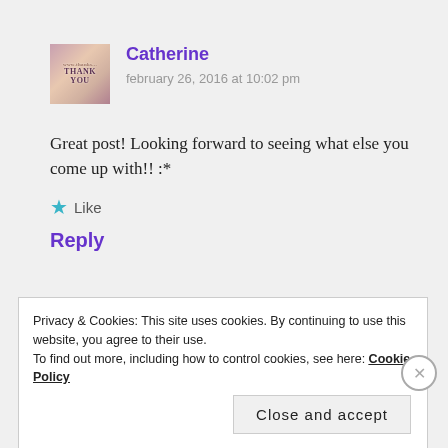[Figure (photo): Avatar image with floral 'Thank You' design]
Catherine
february 26, 2016 at 10:02 pm
Great post! Looking forward to seeing what else you come up with!! :*
★ Like
Reply
Privacy & Cookies: This site uses cookies. By continuing to use this website, you agree to their use.
To find out more, including how to control cookies, see here: Cookie Policy
Close and accept